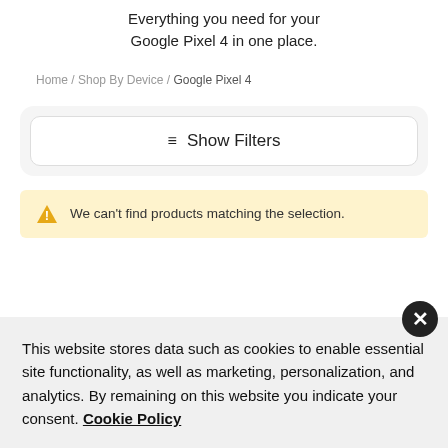Everything you need for your Google Pixel 4 in one place.
Home / Shop By Device / Google Pixel 4
≡ Show Filters
We can't find products matching the selection.
This website stores data such as cookies to enable essential site functionality, as well as marketing, personalization, and analytics. By remaining on this website you indicate your consent. Cookie Policy